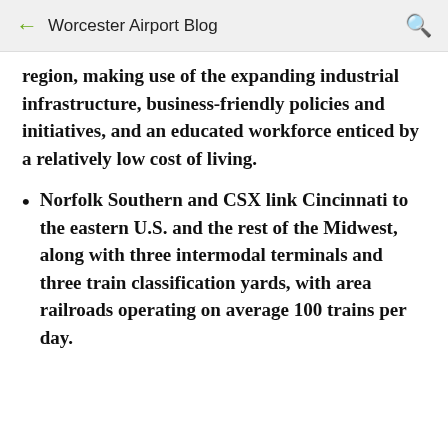Worcester Airport Blog
region, making use of the expanding industrial infrastructure, business-friendly policies and initiatives, and an educated workforce enticed by a relatively low cost of living.
Norfolk Southern and CSX link Cincinnati to the eastern U.S. and the rest of the Midwest, along with three intermodal terminals and three train classification yards, with area railroads operating on average 100 trains per day.